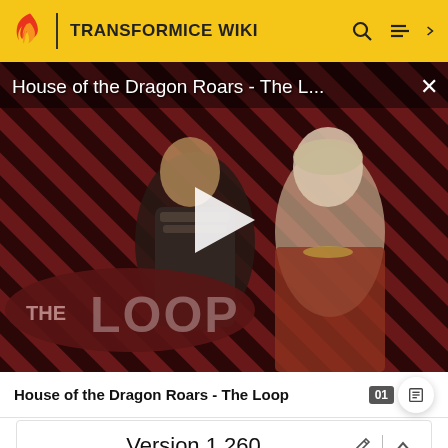TRANSFORMICE WIKI
[Figure (screenshot): Video player showing 'House of the Dragon Roars - The L...' with a play button overlay, striped red/black background, two characters from House of the Dragon, and 'THE LOOP' logo in the lower left corner. An X close button appears in the upper right.]
House of the Dragon Roars - The Loop
Version 1.260